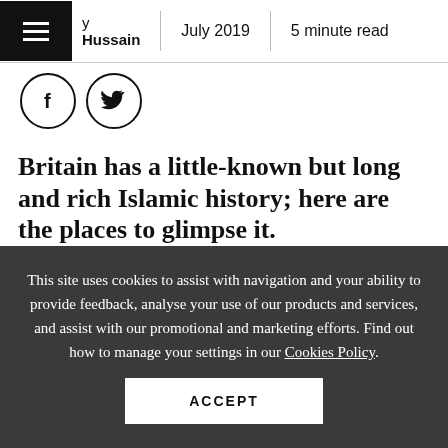By Hussain | July 2019 | 5 minute read
[Figure (illustration): Social share icons: Facebook (f) and Twitter (bird) circles]
Britain has a little-known but long and rich Islamic history; here are the places to glimpse it.
[Figure (illustration): Illustrated header image showing British buildings and landscapes with colourful illustration style, with a blue GHT badge on the right]
This site uses cookies to assist with navigation and your ability to provide feedback, analyse your use of our products and services, and assist with our promotional and marketing efforts. Find out how to manage your settings in our Cookies Policy.
ACCEPT